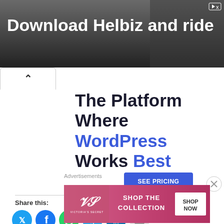[Figure (screenshot): Advertisement banner showing 'Download Helbiz and ride' with a dark background and person in background]
[Figure (screenshot): WordPress hosting advertisement: 'The Platform Where WordPress Works Best' with SEE PRICING button]
Share this:
[Figure (infographic): Social share icons: Twitter, Facebook, WhatsApp, Telegram, LinkedIn, Email]
Advertisements
[Figure (screenshot): Victoria's Secret advertisement: SHOP THE COLLECTION with SHOP NOW button]